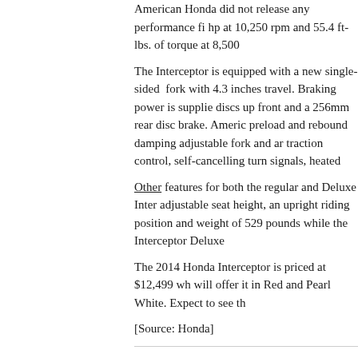American Honda did not release any performance fi... hp at 10,250 rpm and 55.4 ft-lbs. of torque at 8,500
The Interceptor is equipped with a new single-sided fork with 4.3 inches travel. Braking power is supplied by discs up front and a 256mm rear disc brake. American preload and rebound damping adjustable fork and ar... traction control, self-cancelling turn signals, heated
Other features for both the regular and Deluxe Inter... adjustable seat height, an upright riding position and... weight of 529 pounds while the Interceptor Deluxe...
The 2014 Honda Interceptor is priced at $12,499 wh... will offer it in Red and Pearl White. Expect to see th...
[Source: Honda]
By Dennis Chung
See also: 2014 Honda CBR650F Coming to US, 2013 Founding Dealers.